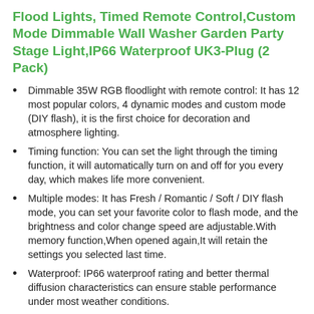Flood Lights, Timed Remote Control,Custom Mode Dimmable Wall Washer Garden Party Stage Light,IP66 Waterproof UK3-Plug (2 Pack)
Dimmable 35W RGB floodlight with remote control: It has 12 most popular colors, 4 dynamic modes and custom mode (DIY flash), it is the first choice for decoration and atmosphere lighting.
Timing function: You can set the light through the timing function, it will automatically turn on and off for you every day, which makes life more convenient.
Multiple modes: It has Fresh / Romantic / Soft / DIY flash mode, you can set your favorite color to flash mode, and the brightness and color change speed are adjustable.With memory function,When opened again,It will retain the settings you selected last time.
Waterproof: IP66 waterproof rating and better thermal diffusion characteristics can ensure stable performance under most weather conditions.